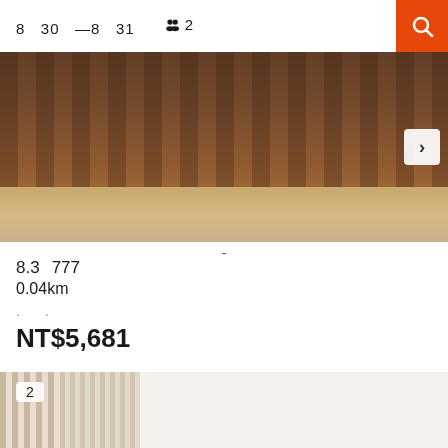8  30  —8  31  👥 2
[Figure (photo): Hotel room interior showing wicker/rattan furniture on wooden floor, partial view]
-
8.3  777
0.04km
. .
NT$5,681
[Figure (photo): Hotel room interior with striped wallpaper, wall-mounted TV, bright white ceiling with light fixture]